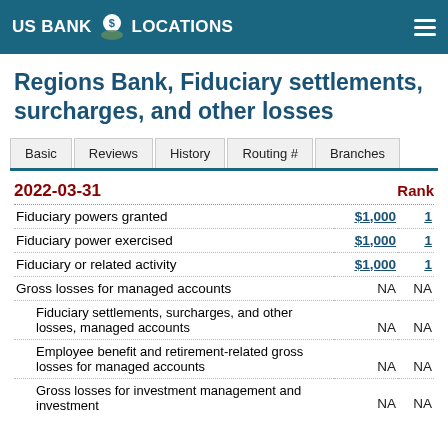US BANK LOCATIONS
Regions Bank, Fiduciary settlements, surcharges, and other losses
|  | Basic | Reviews | History | Routing # | Branches |
| --- | --- | --- | --- | --- | --- |
| 2022-03-31 |  | Rank |
| --- | --- | --- |
| Fiduciary powers granted | $1,000 | 1 |
| Fiduciary power exercised | $1,000 | 1 |
| Fiduciary or related activity | $1,000 | 1 |
| Gross losses for managed accounts | NA | NA |
|   Fiduciary settlements, surcharges, and other losses, managed accounts | NA | NA |
|   Employee benefit and retirement-related gross losses for managed accounts | NA | NA |
|   Gross losses for investment management and investment | NA | NA |